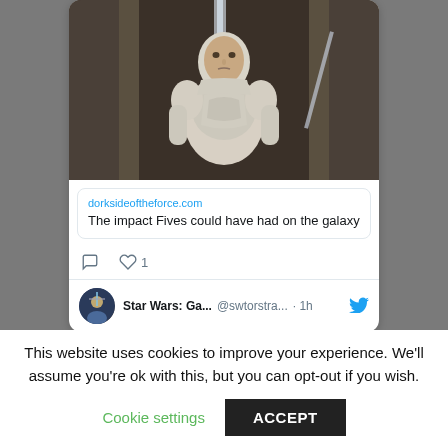[Figure (screenshot): Screenshot of a tweet embed showing a Star Wars clone trooper animated image with a link card to dorksideoftheforce.com titled 'The impact Fives could have had on the galaxy', with reply and like (1) action icons, and a second tweet user row showing 'Star Wars: Ga... @swtorstra... · 1h' with Twitter bird icon.]
This website uses cookies to improve your experience. We'll assume you're ok with this, but you can opt-out if you wish.
Cookie settings
ACCEPT